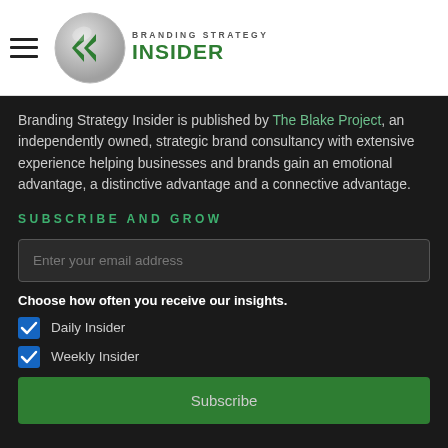[Figure (logo): Branding Strategy Insider logo with green double-arrow chevron icon and text 'BRANDING STRATEGY INSIDER']
Branding Strategy Insider is published by The Blake Project, an independently owned, strategic brand consultancy with extensive experience helping businesses and brands gain an emotional advantage, a distinctive advantage and a connective advantage.
SUBSCRIBE AND GROW
Enter your email address
Choose how often you receive our insights.
Daily Insider
Weekly Insider
Subscribe